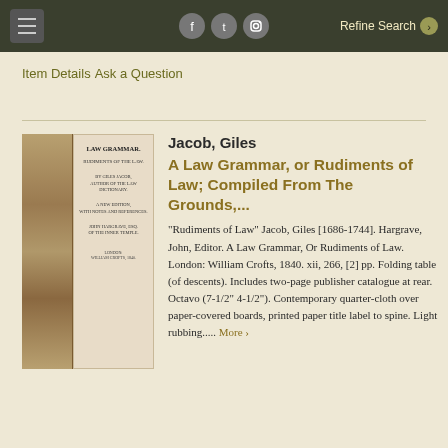≡  [social icons]  Refine Search ›
Item Details
Ask a Question
Jacob, Giles
A Law Grammar, or Rudiments of Law; Compiled From The Grounds,...
"Rudiments of Law" Jacob, Giles [1686-1744]. Hargrave, John, Editor. A Law Grammar, Or Rudiments of Law. London: William Crofts, 1840. xii, 266, [2] pp. Folding table (of descents). Includes two-page publisher catalogue at rear. Octavo (7-1/2" 4-1/2"). Contemporary quarter-cloth over paper-covered boards, printed paper title label to spine. Light rubbing..... More ›